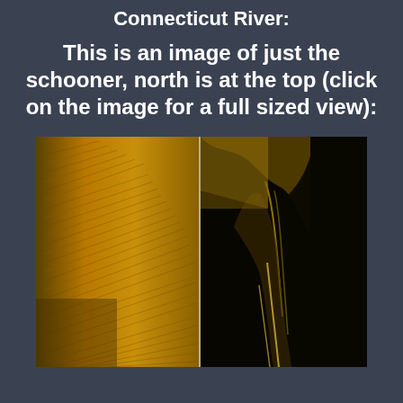Connecticut River:
This is an image of just the schooner, north is at the top (click on the image for a full sized view):
[Figure (photo): Side-scan sonar image of a schooner wreck on the Connecticut River. The image is split into two panels: the left panel shows the riverbed texture in golden/amber tones with cross-hatch patterns, and the right panel shows the darker silhouette of the schooner wreck with wooden structural details visible against a black background.]